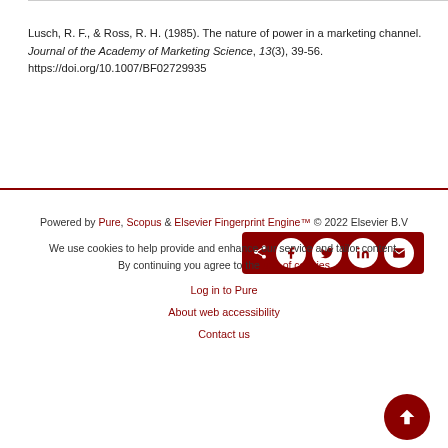Lusch, R. F., & Ross, R. H. (1985). The nature of power in a marketing channel. Journal of the Academy of Marketing Science, 13(3), 39-56. https://doi.org/10.1007/BF02729935
[Figure (other): Social share buttons bar (dark red background) with share, Facebook, Twitter, LinkedIn, and email icons]
Powered by Pure, Scopus & Elsevier Fingerprint Engine™ © 2022 Elsevier B.V

We use cookies to help provide and enhance our service and tailor content. By continuing you agree to the use of cookies

Log in to Pure

About web accessibility

Contact us